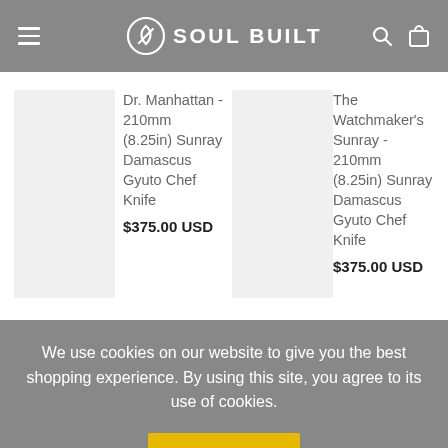SOUL BUILT
[Figure (other): Product image placeholder for Dr. Manhattan knife]
Dr. Manhattan - 210mm (8.25in) Sunray Damascus Gyuto Chef Knife
$375.00 USD
[Figure (other): Product image placeholder for The Watchmaker's Sunray knife]
The Watchmaker's Sunray - 210mm (8.25in) Sunray Damascus Gyuto Chef Knife
$375.00 USD
We use cookies on our website to give you the best shopping experience. By using this site, you agree to its use of cookies.
I agree